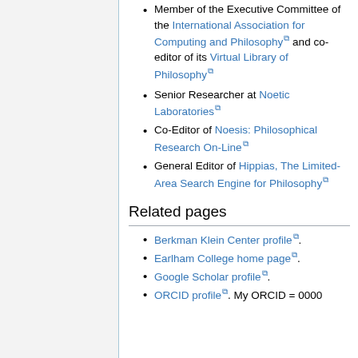Member of the Executive Committee of the International Association for Computing and Philosophy and co-editor of its Virtual Library of Philosophy
Senior Researcher at Noetic Laboratories
Co-Editor of Noesis: Philosophical Research On-Line
General Editor of Hippias, The Limited-Area Search Engine for Philosophy
Related pages
Berkman Klein Center profile.
Earlham College home page.
Google Scholar profile.
ORCID profile. My ORCID = 0000